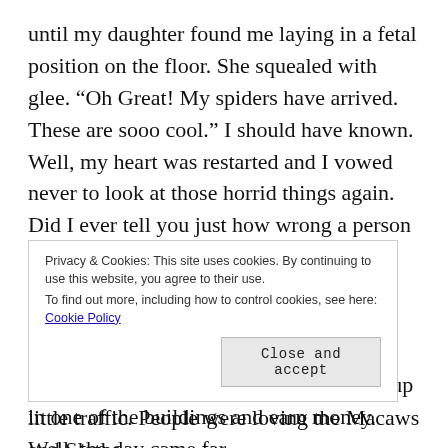until my daughter found me laying in a fetal position on the floor. She squealed with glee. “Oh Great! My spiders have arrived. These are sooo cool.” I should have known. Well, my heart was restarted and I vowed never to look at those horrid things again. Did I ever tell you just how wrong a person can be? Trust me, when dealing with a daughter, a man like me, can be so very wrong, it’s unbelievable.

You see we still had to go to the Zoo, set up in one of the buildings and earn money. Well, the day came far
Privacy & Cookies: This site uses cookies. By continuing to use this website, you agree to their use.
To find out more, including how to control cookies, see here: Cookie Policy
Close and accept
little traffic. People were loving the Macaws and Sloths.